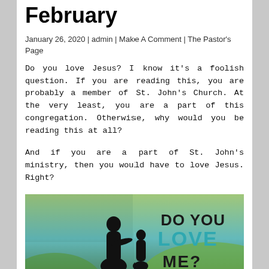February
January 26, 2020 | admin | Make A Comment | The Pastor's Page
Do you love Jesus? I know it's a foolish question. If you are reading this, you are probably a member of St. John's Church. At the very least, you are a part of this congregation. Otherwise, why would you be reading this at all?
And if you are a part of St. John's ministry, then you would have to love Jesus. Right?
[Figure (illustration): Image with teal/green background showing silhouettes of two figures (one adult, one child) and bold text reading 'DO YOU LOVE ME?']